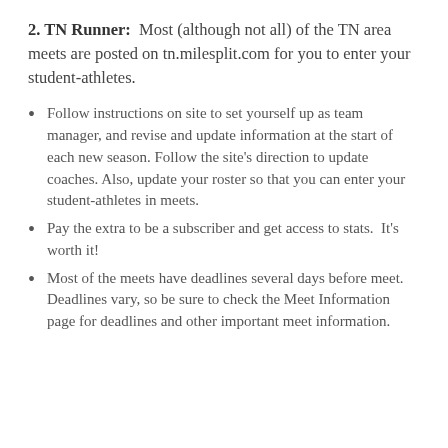2. TN Runner:  Most (although not all) of the TN area meets are posted on tn.milesplit.com for you to enter your student-athletes.
Follow instructions on site to set yourself up as team manager, and revise and update information at the start of each new season. Follow the site's direction to update coaches. Also, update your roster so that you can enter your student-athletes in meets.
Pay the extra to be a subscriber and get access to stats.  It's worth it!
Most of the meets have deadlines several days before meet.  Deadlines vary, so be sure to check the Meet Information page for deadlines and other important meet information.